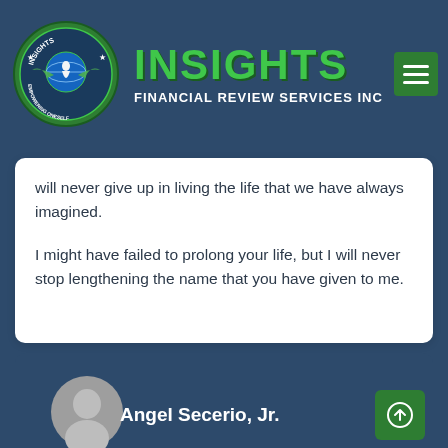[Figure (logo): Insights Financial Review Services Inc logo with circular green emblem and text]
will never give up in living the life that we have always imagined.
I might have failed to prolong your life, but I will never stop lengthening the name that you have given to me.
Angel Secerio, Jr.